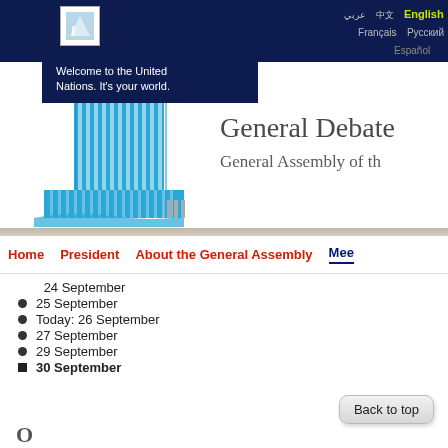Welcome to the United Nations. It's your world.
[Figure (logo): UN General Assembly building logo in blue and white]
General Debate
General Assembly of th
Home   President   About the General Assembly   Mee
24 September
25 September
Today: 26 September
27 September
29 September
30 September
Back to top
O